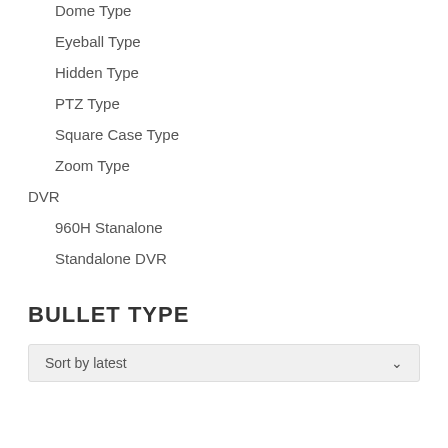Dome Type
Eyeball Type
Hidden Type
PTZ Type
Square Case Type
Zoom Type
DVR
960H Stanalone
Standalone DVR
BULLET TYPE
Sort by latest